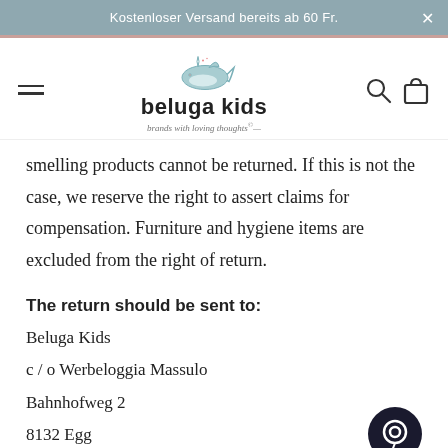Kostenloser Versand bereits ab 60 Fr.
[Figure (logo): Beluga Kids logo with a whale illustration above the text 'beluga kids' and tagline 'brands with loving thoughts']
smelling products cannot be returned. If this is not the case, we reserve the right to assert claims for compensation. Furniture and hygiene items are excluded from the right of return.
The return should be sent to:
Beluga Kids
c / o Werbeloggia Massulo
Bahnhofweg 2
8132 Egg